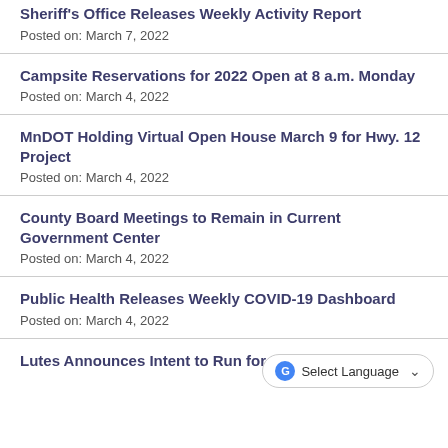Sheriff's Office Releases Weekly Activity Report
Posted on: March 7, 2022
Campsite Reservations for 2022 Open at 8 a.m. Monday
Posted on: March 4, 2022
MnDOT Holding Virtual Open House March 9 for Hwy. 12 Project
Posted on: March 4, 2022
County Board Meetings to Remain in Current Government Center
Posted on: March 4, 2022
Public Health Releases Weekly COVID-19 Dashboard
Posted on: March 4, 2022
Lutes Announces Intent to Run for Re-